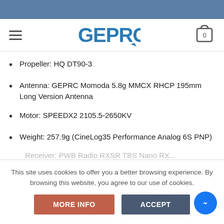[Figure (logo): GEPRC brand logo in blue]
Propeller: HQ DT90-3
Antenna: GEPRC Momoda 5.8g MMCX RHCP 195mm Long Version Antenna
Motor: SPEEDX2 2105.5-2650KV
Weight: 257.9g (CineLog35 Performance Analog 6S PNP)
This site uses cookies to offer you a better browsing experience. By browsing this website, you agree to our use of cookies.